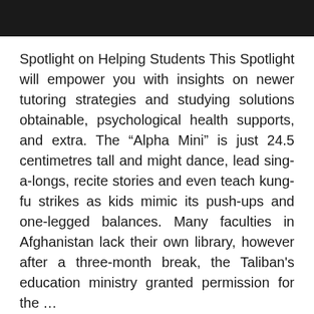Spotlight on Helping Students This Spotlight will empower you with insights on newer tutoring strategies and studying solutions obtainable, psychological health supports, and extra. The “Alpha Mini” is just 24.5 centimetres tall and might dance, lead sing-a-longs, recite stories and even teach kung-fu strikes as kids mimic its push-ups and one-legged balances. Many faculties in Afghanistan lack their own library, however after a three-month break, the Taliban's education ministry granted permission for the …